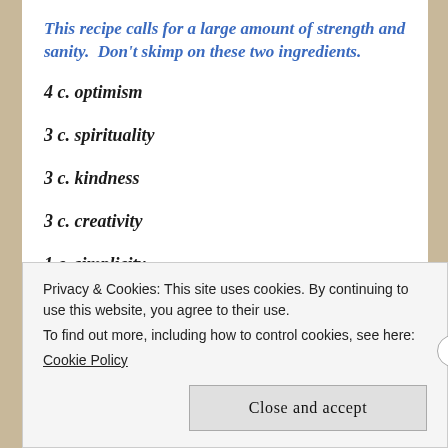This recipe calls for a large amount of strength and sanity.  Don't skimp on these two ingredients.
4 c. optimism
3 c. spirituality
3 c. kindness
3 c. creativity
1 c. simplicity
Privacy & Cookies: This site uses cookies. By continuing to use this website, you agree to their use. To find out more, including how to control cookies, see here: Cookie Policy